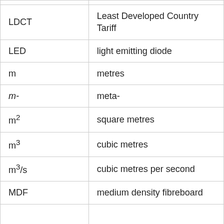|  |  |
| LDCT | Least Developed Country Tariff |
| LED | light emitting diode |
| m | metres |
| m- | meta- |
| m² | square metres |
| m³ | cubic metres |
| m³/s | cubic metres per second |
| MDF | medium density fibreboard |
|  |  |